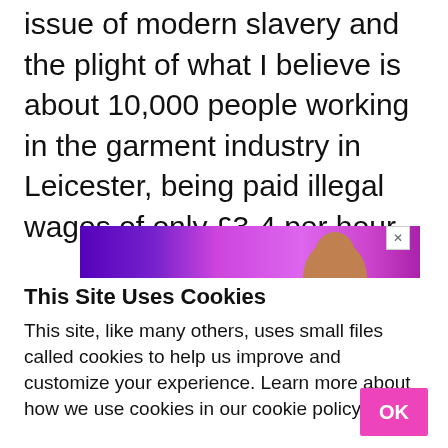issue of modern slavery and the plight of what I believe is about 10,000 people working in the garment industry in Leicester, being paid illegal wages of only £3-4 per hour.
[Figure (other): Advertisement banner with purple/magenta gradient background and partial image of a person's head]
This Site Uses Cookies
This site, like many others, uses small files called cookies to help us improve and customize your experience. Learn more about how we use cookies in our cookie policy.